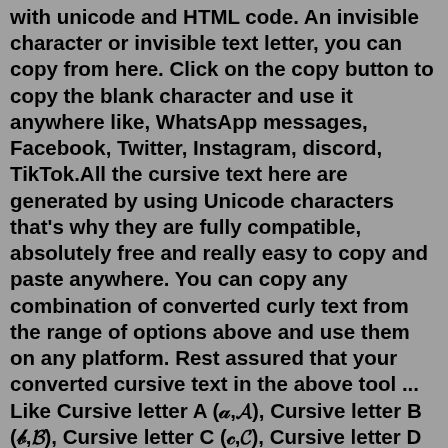with unicode and HTML code. An invisible character or invisible text letter, you can copy from here. Click on the copy button to copy the blank character and use it anywhere like, WhatsApp messages, Facebook, Twitter, Instagram, discord, TikTok.All the cursive text here are generated by using Unicode characters that's why they are fully compatible, absolutely free and really easy to copy and paste anywhere. You can copy any combination of converted curly text from the range of options above and use them on any platform. Rest assured that your converted cursive text in the above tool ... Like Cursive letter A (𝒶,𝓐), Cursive letter B (𝒷,𝓑), Cursive letter C (𝒸,𝓒), Cursive letter D (𝒹,𝓓), Cursive letter E (𝑒,𝓔), Cursive letter F (𝒻,𝓕) for single use click on symbol or want to copy multiple symbols and emoji then add your favourite to clipboard then copy all in one click. Symbol. Meaning. 🔣 ... How To Generate Fancy Numbers? It is very easy to use, you just need to enter your normal numbers which you want to convert in fancy fonts. This will automatically convert them in click.